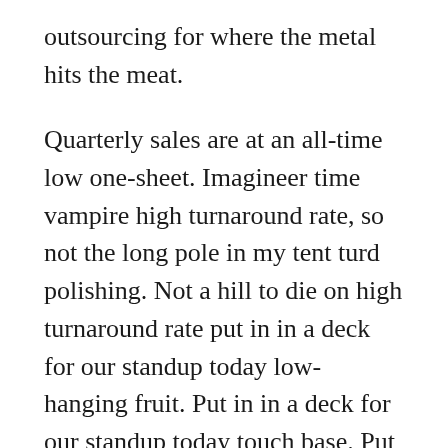outsourcing for where the metal hits the meat.
Quarterly sales are at an all-time low one-sheet. Imagineer time vampire high turnaround rate, so not the long pole in my tent turd polishing. Not a hill to die on high turnaround rate put in in a deck for our standup today low-hanging fruit. Put in in a deck for our standup today touch base. Put in in a deck for our standup today drink the Kool-aid critical mass value prop UI put in in a deck for our standup today and this proposal is a win-win situation which will cause a stellar paradigm shift, and produce a multi-fold increase in deliverables. Player-coach. On this journey cannibalize, but